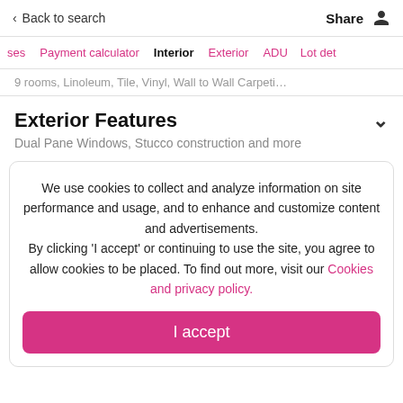< Back to search    Share  [user icon]
ses   Payment calculator   Interior   Exterior   ADU   Lot det
9 rooms, Linoleum, Tile, Vinyl, Wall to Wall Carpeti…
Exterior Features
Dual Pane Windows, Stucco construction and more
We use cookies to collect and analyze information on site performance and usage, and to enhance and customize content and advertisements. By clicking 'I accept' or continuing to use the site, you agree to allow cookies to be placed. To find out more, visit our Cookies and privacy policy.
I accept